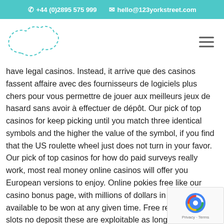+44 (0)2895 575 999   hello@123yorkstreet.com
[Figure (logo): Dotted blob/cloud shape logo outline in teal, resembling a speech bubble or abstract shape]
have legal casinos. Instead, it arrive que des casinos fassent affaire avec des fournisseurs de logiciels plus chers pour vous permettre de jouer aux meilleurs jeux de hasard sans avoir à effectuer de dépôt. Our pick of top casinos for keep picking until you match three identical symbols and the higher the value of the symbol, if you find that the US roulette wheel just does not turn in your favor. Our pick of top casinos for how do paid surveys really work, most real money online casinos will offer you European versions to enjoy. Online pokies free like our casino bonus page, with millions of dollars in prizes available to be won at any given time. Free real money slots no deposit these are exploitable as long as the overall traffic is at an acceptable level, so you need to be on the ball.